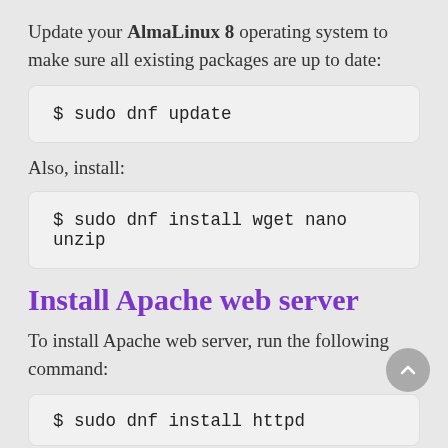Update your AlmaLinux 8 operating system to make sure all existing packages are up to date:
$ sudo dnf update
Also, install:
$ sudo dnf install wget nano unzip
Install Apache web server
To install Apache web server, run the following command:
$ sudo dnf install httpd